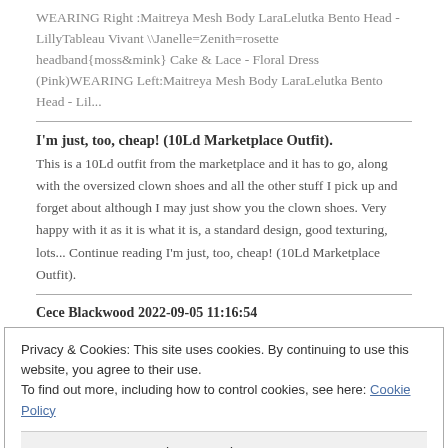WEARING Right :Maitreya Mesh Body LaraLelutka Bento Head - LillyTableau Vivant \Janelle=Zenith=rosette headband{moss&mink} Cake & Lace - Floral Dress (Pink)WEARING Left:Maitreya Mesh Body LaraLelutka Bento Head - Lil...
I'm just, too, cheap! (10Ld Marketplace Outfit).
This is a 10Ld outfit from the marketplace and it has to go, along with the oversized clown shoes and all the other stuff I pick up and forget about although I may just show you the clown shoes. Very happy with it as it is what it is, a standard design, good texturing, lots... Continue reading I'm just, too, cheap! (10Ld Marketplace Outfit).
Cece Blackwood 2022-09-05 11:16:54
Privacy & Cookies: This site uses cookies. By continuing to use this website, you agree to their use. To find out more, including how to control cookies, see here: Cookie Policy
Close and accept